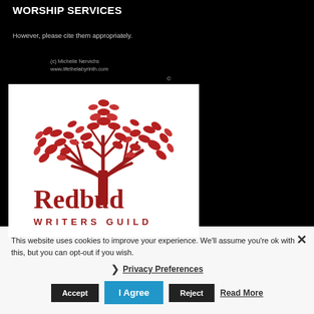WORSHIP SERVICES
However, please cite them appropriately.
(c) Michelle Nervichs
www.lifethelabyrinth.com
[Figure (logo): Redbud Writers Guild logo: a red tree with many leaves above the text 'Redbud WRITERS GUILD' in red serif and spaced sans-serif fonts on a white background]
This website uses cookies to improve your experience. We'll assume you're ok with this, but you can opt-out if you wish.
Privacy Preferences
Accept   Reject   Read More